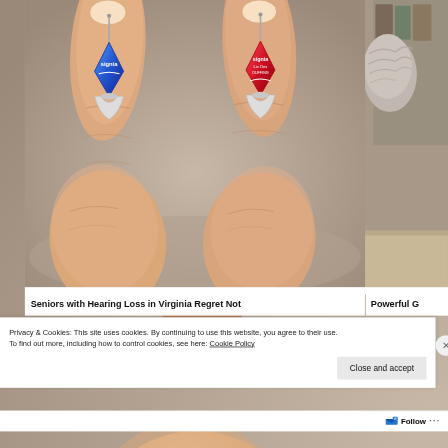[Figure (photo): Two hands holding tiny hearing aids (one blue, one red) with Signia branding, side by side against a blurred background]
[Figure (photo): Partial photo of an elderly person with grey hair, cropped at right edge]
Seniors with Hearing Loss in Virginia Regret Not
Powerful G
Privacy & Cookies: This site uses cookies. By continuing to use this website, you agree to their use.
To find out more, including how to control cookies, see here: Cookie Policy
Close and accept
Follow